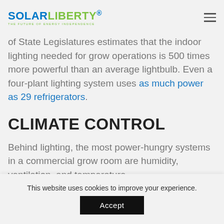SOLARLIBERTY® THE FUTURE OF ENERGY INDEPENDENCE
of State Legislatures estimates that the indoor lighting needed for grow operations is 500 times more powerful than an average lightbulb. Even a four-plant lighting system uses as much power as 29 refrigerators.
CLIMATE CONTROL
Behind lighting, the most power-hungry systems in a commercial grow room are humidity, ventilation, and temperature.
This website uses cookies to improve your experience.